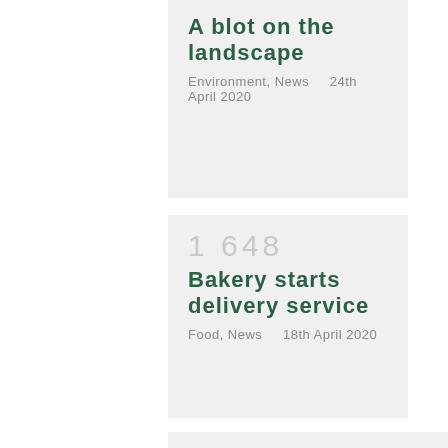A blot on the landscape
Environment, News   24th April 2020
1 648
Bakery starts delivery service
Food, News   18th April 2020
1 609
Guildhall coup! Leader ousted
News   26th March 2020
1 481